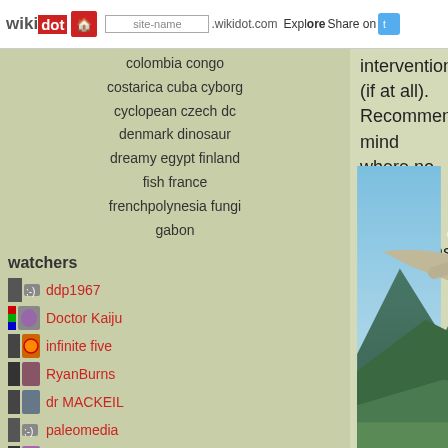wikidot | site-name .wikidot.com | Explore | Share on
colombia congo costarica cuba cyborg cyclopean czech dc denmark dinosaur dreamy egypt finland fish france frenchpolynesia fungi gabon
watchers
ddp1967
Doctor Kaiju
infinite five
RyanBurns
dr MACKEIL
paleomedia
babaikatya
Watch: site | category | page
toolbox
Printable version
Site manager
Edit this menu
Edit top menu
Manage snippets
intervention (if at all). Recommended mind where no one can hurt you.
Corrections and additions are most we
[Figure (illustration): A large flying creature (pterosaur or dragon-like) with outstretched wings soaring over a mountainous landscape with a humanoid figure below.]